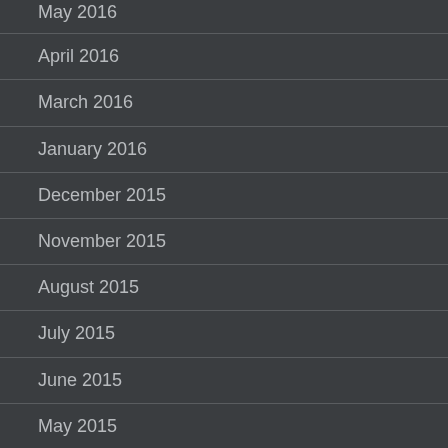May 2016
April 2016
March 2016
January 2016
December 2015
November 2015
August 2015
July 2015
June 2015
May 2015
April 2015
March 2015